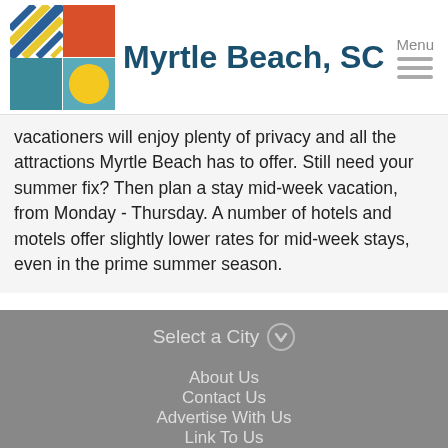Myrtle Beach, SC
vacationers will enjoy plenty of privacy and all the attractions Myrtle Beach has to offer. Still need your summer fix? Then plan a stay mid-week vacation, from Monday - Thursday. A number of hotels and motels offer slightly lower rates for mid-week stays, even in the prime summer season.
Select a City
About Us
Contact Us
Advertise With Us
Link To Us
Privacy Policy
© ICWNET Inc. 2022